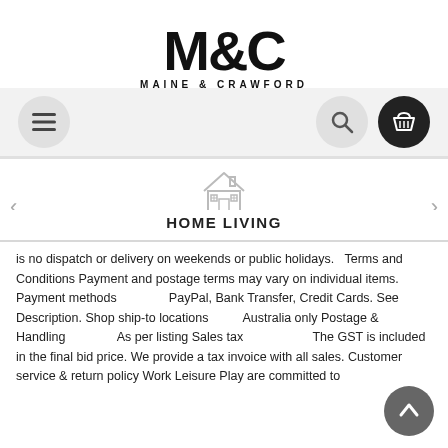[Figure (logo): Maine & Crawford logo — large M&C letters above text MAINE & CRAWFORD]
[Figure (other): Navigation bar with hamburger menu icon (left), search icon (middle-right), and dark shopping basket icon (right)]
[Figure (illustration): House/home icon outline in grey above HOME LIVING label, with left and right navigation arrows on sides]
HOME LIVING
is no dispatch or delivery on weekends or public holidays.   Terms and Conditions Payment and postage terms may vary on individual items. Payment methods               PayPal, Bank Transfer, Credit Cards. See Description. Shop ship-to locations          Australia only Postage & Handling               As per listing Sales tax                    The GST is included in the final bid price. We provide a tax invoice with all sales. Customer service & return policy Work Leisure Play are committed to